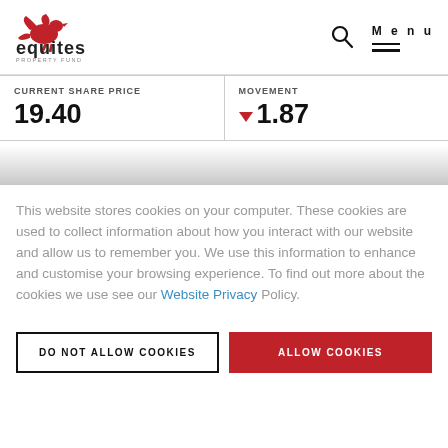[Figure (logo): Equites Property Fund logo with red pegasus/bird icon and 'equites PROPERTY FUND' text]
| CURRENT SHARE PRICE | MOVEMENT |
| --- | --- |
| 19.40 | ▼ 1.87 |
This website stores cookies on your computer. These cookies are used to collect information about how you interact with our website and allow us to remember you. We use this information to enhance and customise your browsing experience. To find out more about the cookies we use see our Website Privacy Policy.
DO NOT ALLOW COOKIES
ALLOW COOKIES